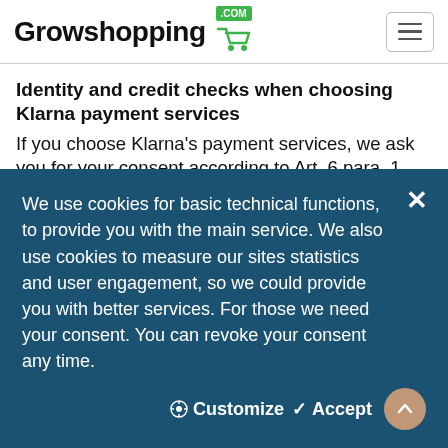Growshopping .com
Identity and credit checks when choosing Klarna payment services
If you choose Klarna's payment services, we ask you for your consent according to Art. 6 para. 1 sentence 1 lit. a DSGVO that we may transfer the data necessary for the processing of the payment and an identity and credit check
We use cookies for basic technical functions, to provide you with the main service. We also use cookies to measure our sites statistics and user engagement, so we could provide you with better services. For those we need your consent. You can revoke your consent any time.
✦ Customize   ✓ Accept